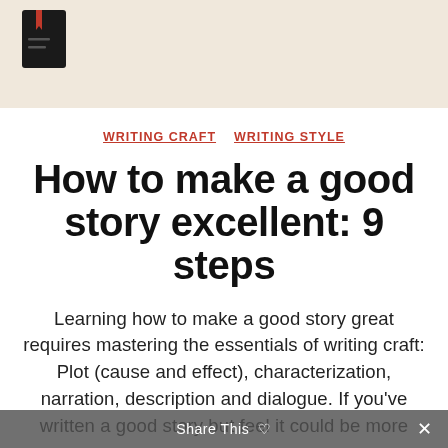[Figure (illustration): Small black notebook/journal icon with a red bookmark ribbon, shown in the top beige/cream banner area]
WRITING CRAFT   WRITING STYLE
How to make a good story excellent: 9 steps
Learning how to make a good story great requires mastering the essentials of writing craft: Plot (cause and effect), characterization, narration, description and dialogue. If you've written a good story but feel it could be more interesting, these 9 steps will help
Share This ♡  ✕